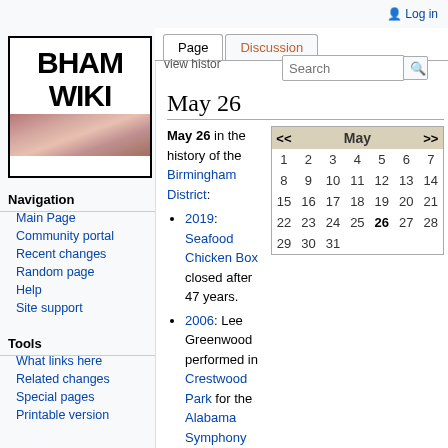Log in
[Figure (logo): BhamWiki logo with BHAM WIKI text in bold black letters and a geological map strip at the bottom]
Navigation
Main Page
Community portal
Recent changes
Random page
Help
Site support
Tools
What links here
Related changes
Special pages
Printable version
May 26
May 26 in the history of the Birmingham District:
[Figure (table-as-image): May calendar with dates 1-31, with 26 highlighted in bold]
2019: Seafood Chicken Box closed after 47 years.
2006: Lee Greenwood performed in Crestwood Park for the Alabama Symphony Orchestra's Sounds for Summer.
2005: Mount Lebanon Baptist Church was destroyed by fire.